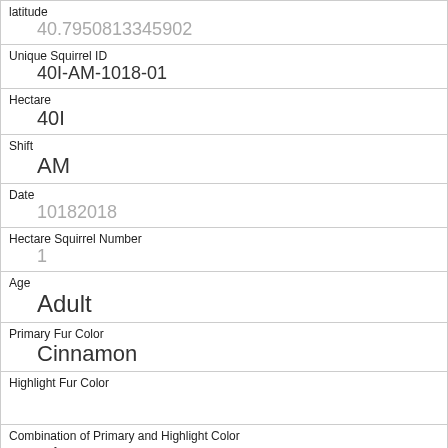| Field | Value |
| --- | --- |
| latitude | 40.7950813345902 |
| Unique Squirrel ID | 40I-AM-1018-01 |
| Hectare | 40I |
| Shift | AM |
| Date | 10182018 |
| Hectare Squirrel Number | 1 |
| Age | Adult |
| Primary Fur Color | Cinnamon |
| Highlight Fur Color |  |
| Combination of Primary and Highlight Color | Cinnamon+ |
| Color notes |  |